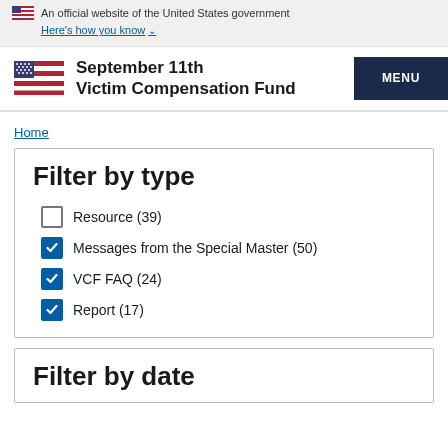An official website of the United States government Here's how you know
September 11th Victim Compensation Fund
Home
Filter by type
Resource (39)
Messages from the Special Master (50)
VCF FAQ (24)
Report (17)
Filter by date